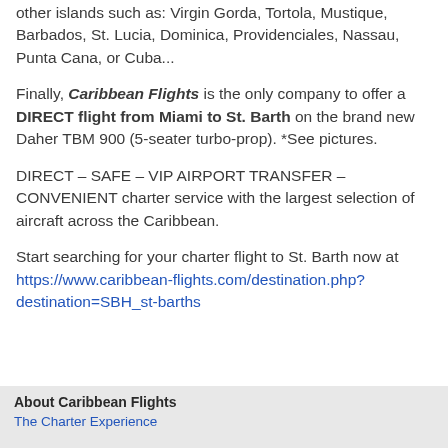other islands such as: Virgin Gorda, Tortola, Mustique, Barbados, St. Lucia, Dominica, Providenciales, Nassau, Punta Cana, or Cuba...
Finally, Caribbean Flights is the only company to offer a DIRECT flight from Miami to St. Barth on the brand new Daher TBM 900 (5-seater turbo-prop). *See pictures.
DIRECT – SAFE – VIP AIRPORT TRANSFER – CONVENIENT charter service with the largest selection of aircraft across the Caribbean.
Start searching for your charter flight to St. Barth now at https://www.caribbean-flights.com/destination.php?destination=SBH_st-barths
About Caribbean Flights
The Charter Experience